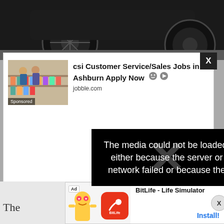[Figure (photo): Partial view of a dark sports car — wheel and undercarriage visible against dark background]
[Figure (screenshot): Sponsored job advertisement: 'csi Customer Service/Sales Jobs in Ashburn Apply Now' from jobble.com with a grocery store image and sponsored label]
The media could not be loaded, either because the server or network failed or because the
[Figure (screenshot): Bottom banner ad for BitLife - Life Simulator app with 'Ad' badge, cartoon character, red BitLife logo, and Install button]
The